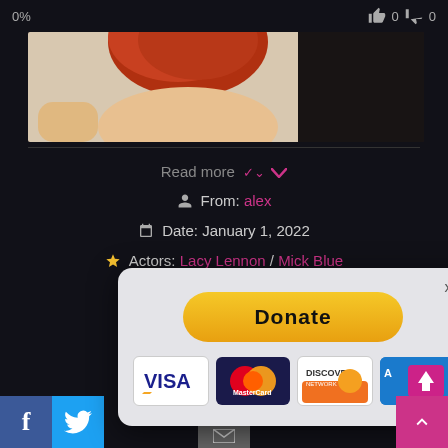0%
👍 0  👎 0
[Figure (photo): Partial view of a person with red hair against a light background, partially obscured by dark overlay]
Read more ∨
From: alex
Date: January 1, 2022
Actors: Lacy Lennon / Mick Blue
[Figure (screenshot): Donate modal popup with yellow Donate button and payment card logos: VISA, MasterCard, Discover, American Express]
[Figure (logo): Facebook share button (f)]
[Figure (logo): Twitter share button (bird icon)]